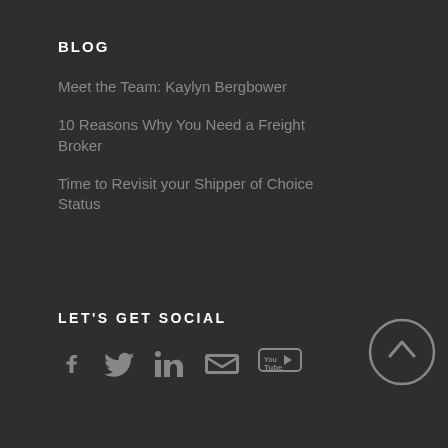BLOG
Meet the Team: Kaylyn Bergbower
10 Reasons Why You Need a Freight Broker
Time to Revisit your Shipper of Choice Status
LET'S GET SOCIAL
[Figure (infographic): Social media icons: Facebook, Twitter, LinkedIn, Email/Envelope, YouTube, and a circular back-to-top arrow button]